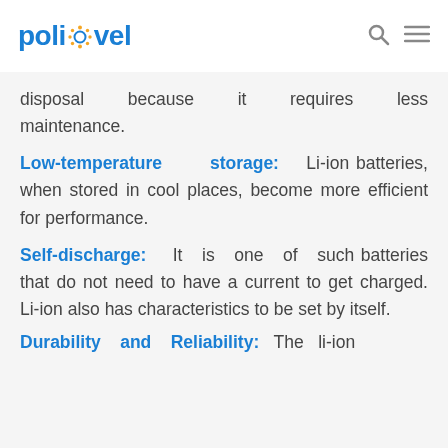POLINOVEL [logo with sun/dot motif] [search icon] [menu icon]
disposal because it requires less maintenance.
Low-temperature storage: Li-ion batteries, when stored in cool places, become more efficient for performance.
Self-discharge: It is one of such batteries that do not need to have a current to get charged. Li-ion also has characteristics to be set by itself.
Durability and Reliability: The li-ion